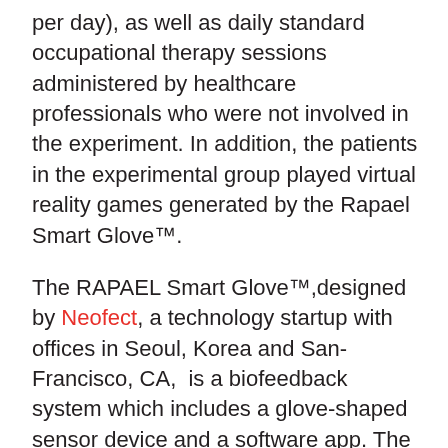per day), as well as daily standard occupational therapy sessions administered by healthcare professionals who were not involved in the experiment. In addition, the patients in the experimental group played virtual reality games generated by the Rapael Smart Glove™.
The RAPAEL Smart Glove™,designed by Neofect, a technology startup with offices in Seoul, Korea and San-Francisco, CA,  is a biofeedback system which includes a glove-shaped sensor device and a software app. The wearable device tracks the 3D motions and posture of the wearer's distal limb, recognizes functional forearm and wrist movements, and measures the range of finger movement. Data is transmitted via Bluetooth, and the software creates training games by